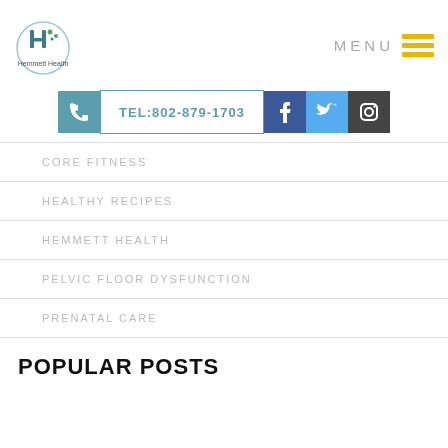[Figure (logo): Hemmett Health circular logo with stylized H and dots]
MENU
[Figure (infographic): Contact bar with phone icon, TEL:802-879-1703, Facebook, Twitter, Instagram icons]
CORE FITNESS
HEALTHY RECIPES
HEMMETT HEALTH
PELVIC FLOOR DYSFUNCTION
PRENATAL CARE
POPULAR POSTS